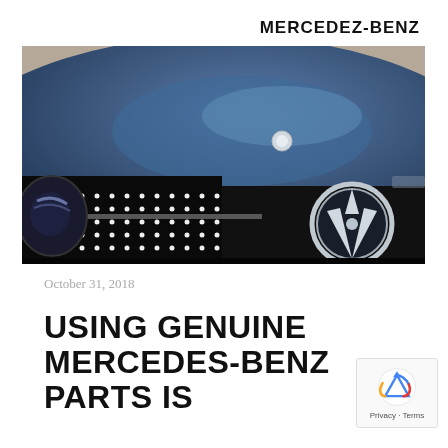MERCEDEZ-BENZ
[Figure (photo): Close-up photo of a dark navy blue Mercedes-Benz car front, showing the iconic three-pointed star logo on the grille, headlight, and hood]
October 31, 2018
USING GENUINE MERCEDES-BENZ PARTS IS